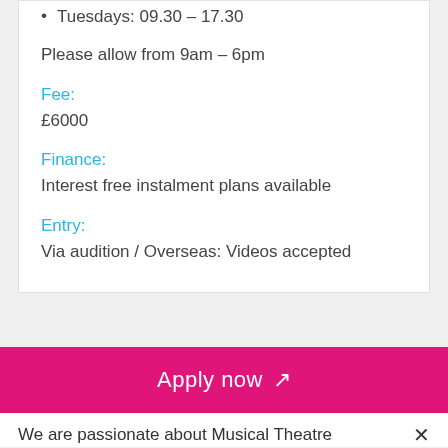Tuesdays: 09.30 – 17.30
Please allow from 9am – 6pm
Fee:
£6000
Finance:
Interest free instalment plans available
Entry:
Via audition / Overseas: Videos accepted
Apply now
We are passionate about Musical Theatre